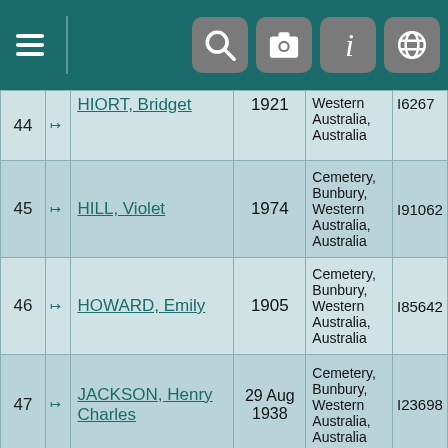[Figure (screenshot): Mobile app navigation bar with hamburger menu and icons for search, camera, info, and globe]
| # |  | Name | Year | Location | ID |
| --- | --- | --- | --- | --- | --- |
| 44 | ↦ | HIORT, Bridget | 1921 | Western Australia, Australia | I6267 |
| 45 | ↦ | HILL, Violet | 1974 | Cemetery, Bunbury, Western Australia, Australia | I91062 |
| 46 | ↦ | HOWARD, Emily | 1905 | Cemetery, Bunbury, Western Australia, Australia | I85642 |
| 47 | ↦ | JACKSON, Henry Charles | 29 Aug 1938 | Cemetery, Bunbury, Western Australia, Australia | I23698 |
| 48 | ↦ | JACKSON, Thomas Pavia | 1885 | Cemetery, Bunbury, Western Australia, Australia | I27847 |
| 49 | ↦ | JAMES, Alison Christine | 2010 | Cemetery, Bunbury, Western Australia, Australia | I78118 |